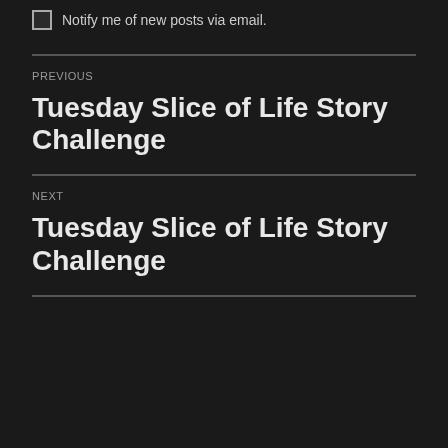Notify me of new posts via email.
PREVIOUS
Tuesday Slice of Life Story Challenge
NEXT
Tuesday Slice of Life Story Challenge